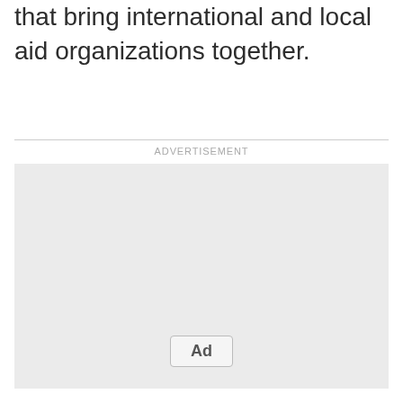that bring international and local aid organizations together.
[Figure (other): Advertisement placeholder box with 'Ad' button label]